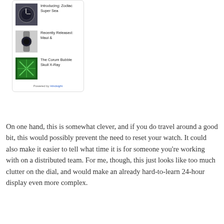[Figure (screenshot): Sidebar widget showing three watch-related article thumbnails with titles: 'Introducing: Zodiac Super Sea', 'Recently Released: Maui &', 'The Corum Bubble Skull X-Ray', with 'Powered by Hindsight' footer]
On one hand, this is somewhat clever, and if you do travel around a good bit, this would possibly prevent the need to reset your watch.  It could also make it easier to tell what time it is for someone you're working with on a distributed team.  For me, though, this just looks like too much clutter on the dial, and would make an already hard-to-learn 24-hour display even more complex.